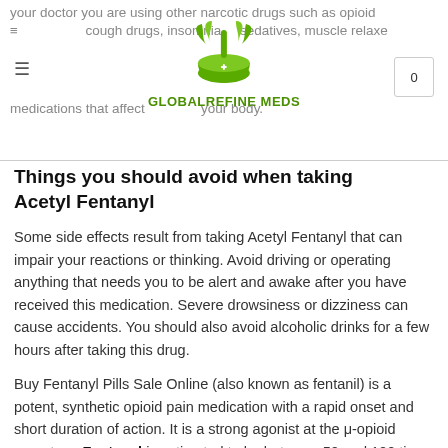your doctor you are using other narcotic drugs such as opioid cough drugs, insomnia, sedatives, muscle relaxers, medications that affect your body.
Things you should avoid when taking Acetyl Fentanyl
Some side effects result from taking Acetyl Fentanyl that can impair your reactions or thinking. Avoid driving or operating anything that needs you to be alert and awake after you have received this medication. Severe drowsiness or dizziness can cause accidents. You should also avoid alcoholic drinks for a few hours after taking this drug.
Buy Fentanyl Pills Sale Online (also known as fentanil) is a potent, synthetic opioid pain medication with a rapid onset and short duration of action. It is a strong agonist at the μ-opioid receptors. Fentanyl is estimated to be between 50 and 100 times as potent as morphine